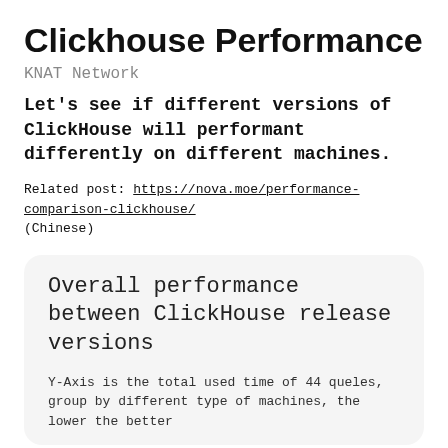Clickhouse Performance
KNAT Network
Let's see if different versions of ClickHouse will performant differently on different machines.
Related post: https://nova.moe/performance-comparison-clickhouse/ (Chinese)
Overall performance between ClickHouse release versions
Y-Axis is the total used time of 44 queles, group by different type of machines, the lower the better